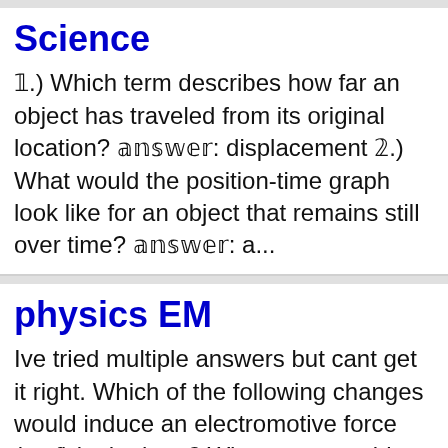Science
𝟙.) Which term describes how far an object has traveled from its original location? 𝕒𝕟𝕤𝕨𝕖𝕣: displacement 𝟚.) What would the position-time graph look like for an object that remains still over time? 𝕒𝕟𝕤𝕨𝕖𝕣: a...
physics EM
Ive tried multiple answers but cant get it right. Which of the following changes would induce an electromotive force (emf) in the loop? When you consider each option, assume that no other changes occur. a. The magnitude of B_vec increases. b. The magnitude...